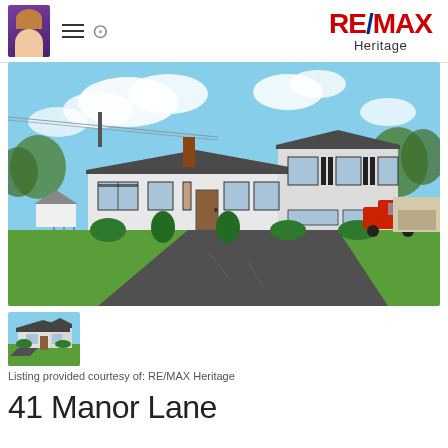[Figure (logo): RE/MAX Heritage logo with red and blue text]
[Figure (photo): Exterior photo of a split-level ranch house with white siding, black shutters, asphalt driveway, green lawn, and blue sky with clouds. A red truck is visible on the right side.]
[Figure (photo): Small thumbnail of the same house exterior]
Listing provided courtesy of: RE/MAX Heritage
41 Manor Lane